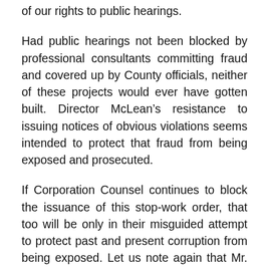of our rights to public hearings.
Had public hearings not been blocked by professional consultants committing fraud and covered up by County officials, neither of these projects would ever have gotten built. Director McLean’s resistance to issuing notices of obvious violations seems intended to protect that fraud from being exposed and prosecuted.
If Corporation Counsel continues to block the issuance of this stop-work order, that too will be only in their misguided attempt to protect past and present corruption from being exposed. Let us note again that Mr. Brown’s attorney in all this only just recently removed himself from his position at Corporation Counsel.